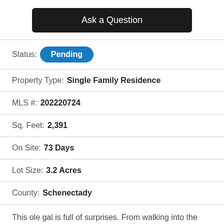Ask a Question
Status: Pending
Property Type: Single Family Residence
MLS #: 202220724
Sq. Feet: 2,391
On Site: 73 Days
Lot Size: 3.2 Acres
County: Schenectady
This ole gal is full of surprises. From walking into the house to strolling on its rich and lush properties. No...